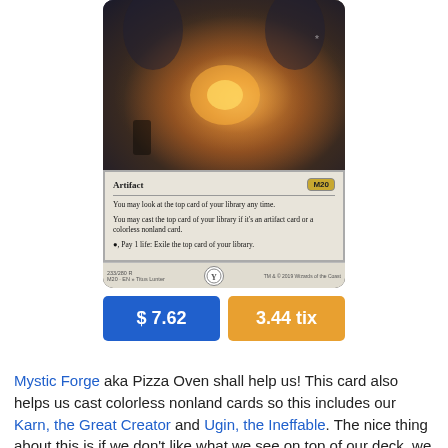[Figure (illustration): Magic: The Gathering card named Mystic Forge showing artwork of a mechanical forge/oven with glowing light, card type 'Artifact', set M20, rules text about looking at and casting cards from top of library, price buttons showing $7.62 and 3.44 tix]
Mystic Forge aka Pizza Oven shall help us! This card also helps us cast colorless nonland cards so this includes our Karn, the Great Creator and Ugin, the Ineffable. The nice thing about this is if we don't like what we see on top of our deck, we can shuffle